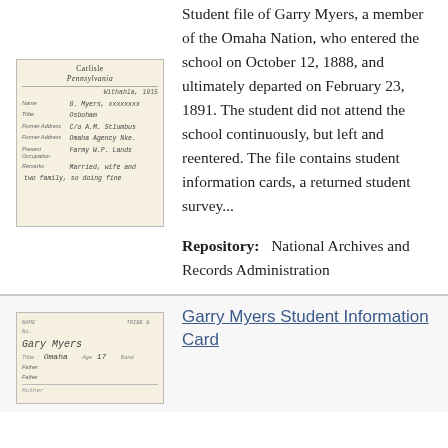[Figure (photo): Scanned student record card from Carlisle, Pennsylvania, showing handwritten fields including name, tribe, former address, present address, present occupation, and remarks. Date appears to be 1915.]
Student file of Garry Myers, a member of the Omaha Nation, who entered the school on October 12, 1888, and ultimately departed on February 23, 1891. The student did not attend the school continuously, but left and reentered. The file contains student information cards, a returned student survey...
Repository:   National Archives and Records Administration
[Figure (photo): Scanned student information card for Garry Myers, showing handwritten name 'Garry Myers', tribe 'Omaha', age 17, and other fields.]
Garry Myers Student Information Card